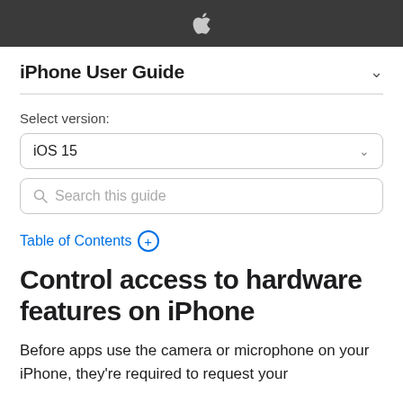iPhone User Guide
Select version:
iOS 15
Search this guide
Table of Contents +
Control access to hardware features on iPhone
Before apps use the camera or microphone on your iPhone, they're required to request your